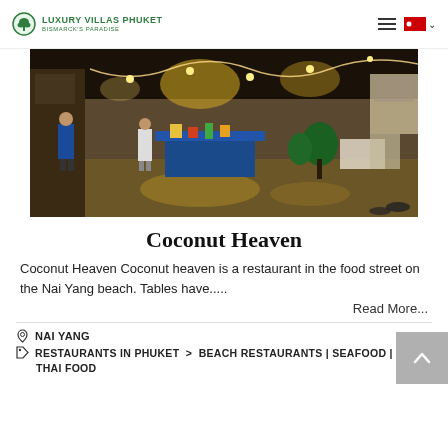Luxury Villas Phuket — Bismarck's Paradise
[Figure (photo): Night street food market scene at Nai Yang beach, with vendors, stalls, plants and lights]
Coconut Heaven
Coconut Heaven Coconut heaven is a restaurant in the food street on the Nai Yang beach. Tables have.....
Read More...
NAI YANG
RESTAURANTS IN PHUKET > BEACH RESTAURANTS | SEAFOOD | THAI FOOD